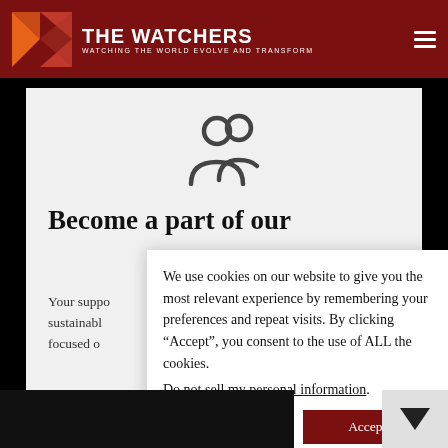THE WATCHERS — WATCHING THE WORLD EVOLVE AND TRANSFORM
[Figure (illustration): Group/users icon: two stylized person silhouettes in dark gray, representing a community or group]
Become a part of our
Your suppo... sustainabl... focused o...
We use cookies on our website to give you the most relevant experience by remembering your preferences and repeat visits. By clicking “Accept”, you consent to the use of ALL the cookies.
Do not sell my personal information.